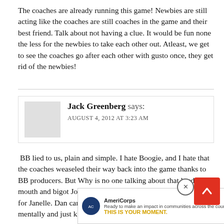The coaches are already running this game! Newbies are still acting like the coaches are still coaches in the game and their best friend. Talk about not having a clue. It would be fun none the less for the newbies to take each other out. Atleast, we get to see the coaches go after each other with gusto once, they get rid of the newbies!
Jack Greenberg says: AUGUST 4, 2012 AT 3:23 AM
BB lied to us, plain and simple. I hate Boogie, and I hate that the coaches weaseled their way back into the game thanks to BB producers. But Why is no one talking about that loud mouth and bigot Joe anymore? I've lost any and ALL respect for Janelle. Dan can't stay awake and is not even present mentally and just keeps throwing competitions and rememb... Lomba... ...one, said be...
[Figure (other): AmeriCorps advertisement banner at bottom of page with text 'Ready to make an impact in communities across the country? THIS IS YOUR MOMENT. LEARN MORE' and a thumbnail image of a computer workstation. A red scroll-to-top button and a close (X) button are overlaid on the right side.]